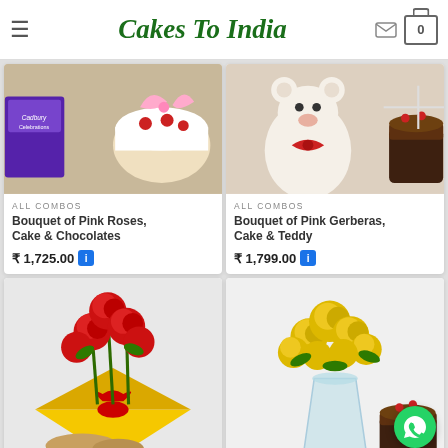Cakes To India
[Figure (photo): Product image: Bouquet of Pink Roses, Cake and Chocolates gift combo]
ALL COMBOS
Bouquet of Pink Roses, Cake & Chocolates
₹ 1,725.00
[Figure (photo): Product image: Bouquet of Pink Gerberas, Cake and Teddy gift combo with white teddy bear and chocolate cake]
ALL COMBOS
Bouquet of Pink Gerberas, Cake & Teddy
₹ 1,799.00
[Figure (photo): Product image: Red roses bouquet in yellow wrapping with almonds]
[Figure (photo): Product image: Yellow roses bouquet in glass vase with chocolate cake]